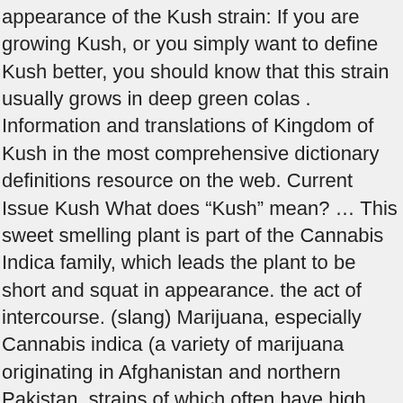appearance of the Kush strain: If you are growing Kush, or you simply want to define Kush better, you should know that this strain usually grows in deep green colas . Information and translations of Kingdom of Kush in the most comprehensive dictionary definitions resource on the web. Current Issue Kush What does “Kush” mean? ... This sweet smelling plant is part of the Cannabis Indica family, which leads the plant to be short and squat in appearance. the act of intercourse. (slang) Marijuana, especially Cannabis indica (a variety of marijuana originating in Afghanistan and northern Pakistan, strains of which often have high THC content). Rating; Alphabet; Length; KUSH Abbreviation. Your resource for web acronyms, web abbreviations and netspeak. What do you think of the answers? Some people believe that the ‘OG’ is a memorial to OverGrown.com , which was the world’s largest cannabis grow site until 2006 when they were shut down by the Canadian police for “illegally distributing seeds.” The name “Kush” originates from the Hindu-Kush mountains where it was